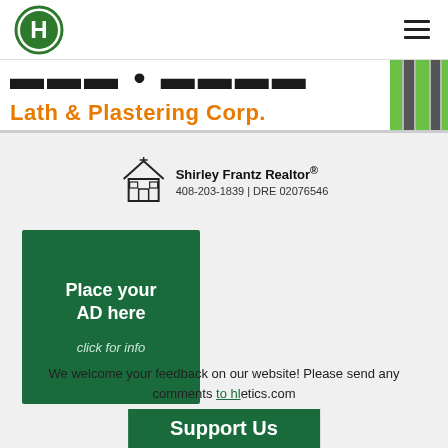[Figure (logo): Green oval H logo for Hollister athletics or similar organization]
[Figure (other): Hamburger menu icon (three horizontal lines)]
[Figure (other): Banner strip showing partial dark bold text and orange text 'Lath & Plastering Corp.' with a striped image on the right]
[Figure (other): Shirley Frantz Realtor ad with house icon, phone 408-203-1839 and DRE 02076546]
[Figure (other): Green advertisement box: Place your AD here, click for info]
We welcome your feedback on our website! Please send any comments to ... hletics.com
[Figure (other): Support Us green button at the bottom]